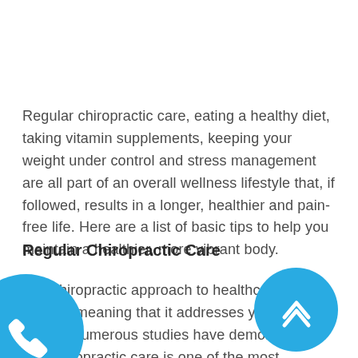Regular chiropractic care, eating a healthy diet, taking vitamin supplements, keeping your weight under control and stress management are all part of an overall wellness lifestyle that, if followed, results in a longer, healthier and pain-free life. Here are a list of basic tips to help you maintain a healthier, more vibrant body.
Regular Chiropractic Care
The chiropractic approach to healthcare is holistic, meaning that it addresses your overall health. Numerous studies have demonstrated that chiropractic care is one of the most effective treatments for back pain, headaches, whiplash, sports injuries and many other